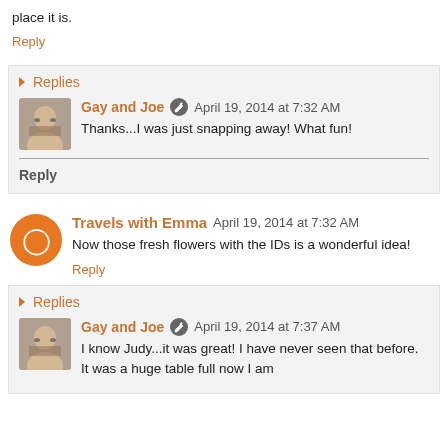place it is.
Reply
Replies
Gay and Joe  April 19, 2014 at 7:32 AM
Thanks...I was just snapping away! What fun!
Reply
Travels with Emma  April 19, 2014 at 7:32 AM
Now those fresh flowers with the IDs is a wonderful idea!
Reply
Replies
Gay and Joe  April 19, 2014 at 7:37 AM
I know Judy...it was great! I have never seen that before. It was a huge table full now I am